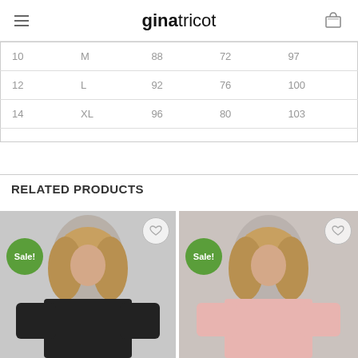ginatricot
| 10 | M | 88 | 72 | 97 |
| 12 | L | 92 | 76 | 100 |
| 14 | XL | 96 | 80 | 103 |
RELATED PRODUCTS
[Figure (photo): Woman with curly hair wearing a black oversized t-shirt, Sale badge overlay, on light grey background]
[Figure (photo): Woman with curly hair wearing a pink oversized t-shirt, Sale badge overlay, on light grey background]